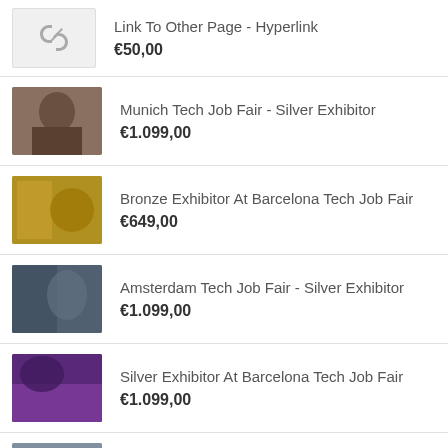Link To Other Page - Hyperlink
€50,00
Munich Tech Job Fair - Silver Exhibitor
€1.099,00
Bronze Exhibitor At Barcelona Tech Job Fair
€649,00
Amsterdam Tech Job Fair - Silver Exhibitor
€1.099,00
Silver Exhibitor At Barcelona Tech Job Fair
€1.099,00
Berlin Tech Job Fair - Silver Exhibitor
€1.099,00
Zurich Tech Job Fair - Silver Exhibitor
€1.099,00
(partial item)